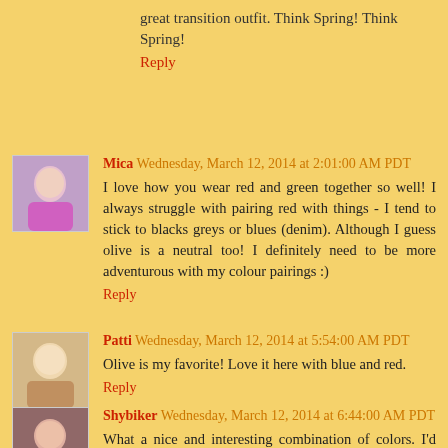great transition outfit. Think Spring! Think Spring!
Reply
Mica  Wednesday, March 12, 2014 at 2:01:00 AM PDT
I love how you wear red and green together so well! I always struggle with pairing red with things - I tend to stick to blacks greys or blues (denim). Although I guess olive is a neutral too! I definitely need to be more adventurous with my colour pairings :)
Reply
Patti  Wednesday, March 12, 2014 at 5:54:00 AM PDT
Olive is my favorite! Love it here with blue and red.
Reply
Shybiker  Wednesday, March 12, 2014 at 6:44:00 AM PDT
What a nice and interesting combination of colors. I'd have